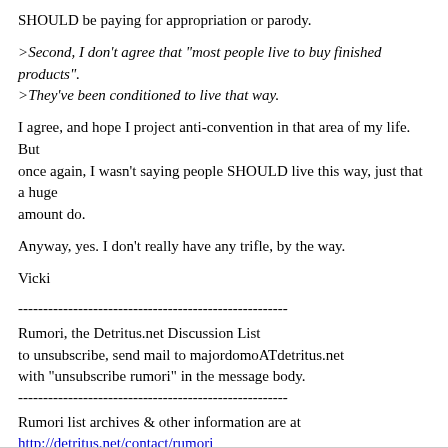SHOULD be paying for appropriation or parody.
>Second, I don't agree that "most people live to buy finished products".
>They've been conditioned to live that way.
I agree, and hope I project anti-convention in that area of my life. But once again, I wasn't saying people SHOULD live this way, just that a huge amount do.
Anyway, yes. I don't really have any trifle, by the way.
Vicki
------------------------------------------------------
Rumori, the Detritus.net Discussion List
to unsubscribe, send mail to majordomoATdetritus.net
with "unsubscribe rumori" in the message body.
------------------------------------------------------
Rumori list archives & other information are at
http://detritus.net/contact/rumori
------------------------------------------------------